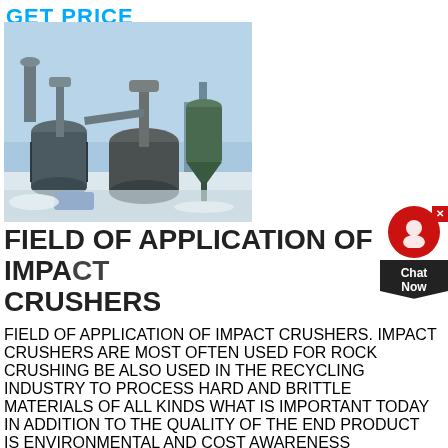GET PRICE
[Figure (photo): Industrial impact crusher / grinding mill machinery with large cylindrical vessels, pipes, and dust collection equipment outdoors in a snowy setting with blue sky.]
FIELD OF APPLICATION OF IMPACT CRUSHERS
FIELD OF APPLICATION OF IMPACT CRUSHERS. IMPACT CRUSHERS ARE MOST OFTEN USED FOR ROCK CRUSHING BE ALSO USED IN THE RECYCLING INDUSTRY TO PROCESS HARD AND BRITTLE MATERIALS OF ALL KINDS WHAT IS IMPORTANT TODAY IN ADDITION TO THE QUALITY OF THE END PRODUCT IS ENVIRONMENTAL AND COST AWARENESS AVAILABILITY AND A WIDE FIELD OF APPLICATION IMPACT CRUSHER SHOULD REACH ALL THESE